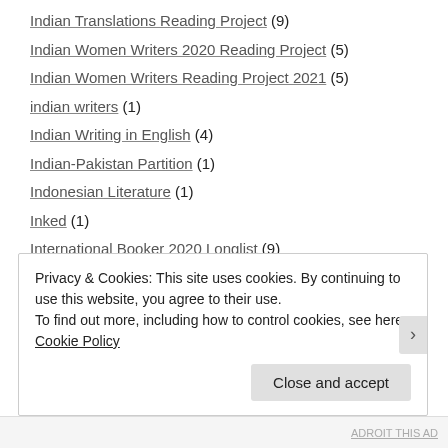Indian Translations Reading Project (9)
Indian Women Writers 2020 Reading Project (5)
Indian Women Writers Reading Project 2021 (5)
indian writers (1)
Indian Writing in English (4)
Indian-Pakistan Partition (1)
Indonesian Literature (1)
Inked (1)
International Booker 2020 Longlist (9)
International Booker 2022 (4)
International Booker 2022 Longlist (5)
International Booker 2022 Shortlist (1)
International Booker Prize 2023 Longlist (5)
Privacy & Cookies: This site uses cookies. By continuing to use this website, you agree to their use. To find out more, including how to control cookies, see here: Cookie Policy
Close and accept